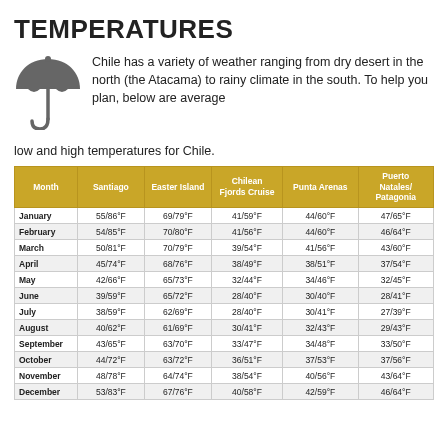TEMPERATURES
Chile has a variety of weather ranging from dry desert in the north (the Atacama) to rainy climate in the south. To help you plan, below are average low and high temperatures for Chile.
| Month | Santiago | Easter Island | Chilean Fjords Cruise | Punta Arenas | Puerto Natales/ Patagonia |
| --- | --- | --- | --- | --- | --- |
| January | 55/86°F | 69/79°F | 41/59°F | 44/60°F | 47/65°F |
| February | 54/85°F | 70/80°F | 41/56°F | 44/60°F | 46/64°F |
| March | 50/81°F | 70/79°F | 39/54°F | 41/56°F | 43/60°F |
| April | 45/74°F | 68/76°F | 38/49°F | 38/51°F | 37/54°F |
| May | 42/66°F | 65/73°F | 32/44°F | 34/46°F | 32/45°F |
| June | 39/59°F | 65/72°F | 28/40°F | 30/40°F | 28/41°F |
| July | 38/59°F | 62/69°F | 28/40°F | 30/41°F | 27/39°F |
| August | 40/62°F | 61/69°F | 30/41°F | 32/43°F | 29/43°F |
| September | 43/65°F | 63/70°F | 33/47°F | 34/48°F | 33/50°F |
| October | 44/72°F | 63/72°F | 36/51°F | 37/53°F | 37/56°F |
| November | 48/78°F | 64/74°F | 38/54°F | 40/56°F | 43/64°F |
| December | 53/83°F | 67/76°F | 40/58°F | 42/59°F | 46/64°F |